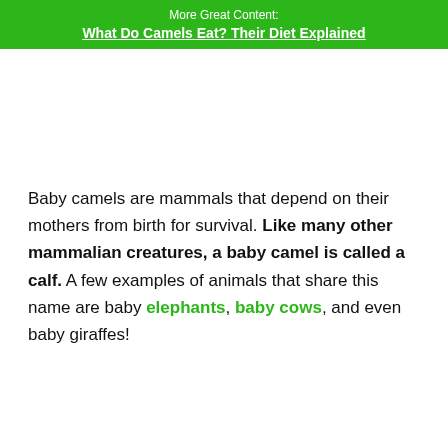More Great Content: What Do Camels Eat? Their Diet Explained
[Figure (other): White/blank space area where an image would appear]
Baby camels are mammals that depend on their mothers from birth for survival. Like many other mammalian creatures, a baby camel is called a calf. A few examples of animals that share this name are baby elephants, baby cows, and even baby giraffes!